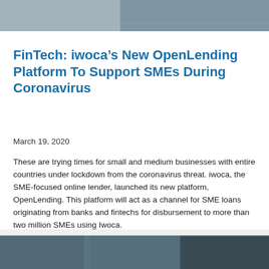[Figure (photo): Top banner image showing people or building, gray-toned photo]
FinTech: iwoca’s New OpenLending Platform To Support SMEs During Coronavirus
March 19, 2020
These are trying times for small and medium businesses with entire countries under lockdown from the coronavirus threat. iwoca, the SME-focused online lender, launched its new platform, OpenLending. This platform will act as a channel for SME loans originating from banks and fintechs for disbursement to more than two million SMEs using Iwoca.
[Figure (photo): Bottom image showing dark geometric building or server structures, dark gray tones]